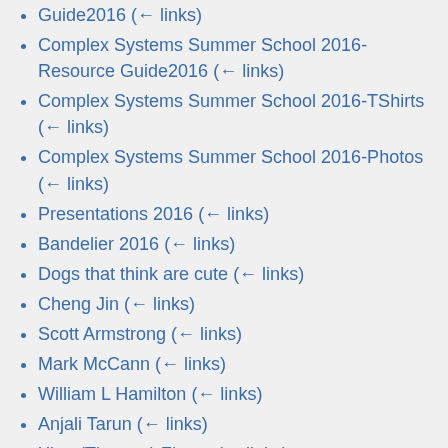Guide2016  (← links)
Complex Systems Summer School 2016-Resource Guide2016  (← links)
Complex Systems Summer School 2016-TShirts  (← links)
Complex Systems Summer School 2016-Photos  (← links)
Presentations 2016  (← links)
Bandelier 2016  (← links)
Dogs that think are cute  (← links)
Cheng Jin  (← links)
Scott Armstrong  (← links)
Mark McCann  (← links)
William L Hamilton  (← links)
Anjali Tarun  (← links)
Xiao (Thomas) Zhang  (← links)
Frank Marss  (← links)
Gaetano Dato  (← links)